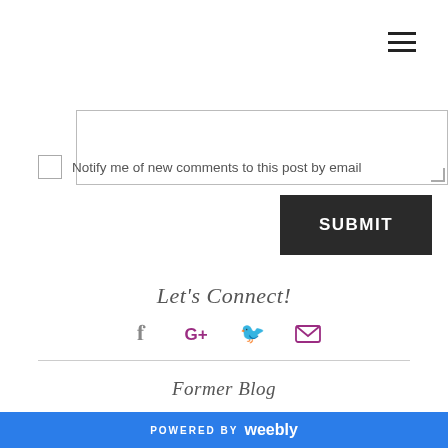[Figure (screenshot): Hamburger menu icon (three horizontal lines) in top right corner]
[Figure (screenshot): Text area input box with resize handle]
Notify me of new comments to this post by email
[Figure (screenshot): SUBMIT button, dark background with white bold text]
Let's Connect!
[Figure (infographic): Social media icons: Facebook, Google+, Twitter, Email]
Former Blog
My former author blog still exists and has a lot of Regency related
POWERED BY weebly